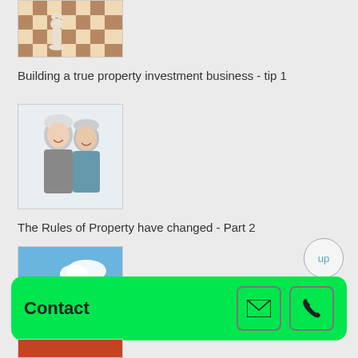[Figure (photo): Chess pieces on a checkered board, close-up]
Building a true property investment business - tip 1
[Figure (photo): Smiling older couple, grey-haired woman and man]
The Rules of Property have changed - Part 2
[Figure (photo): Person lying on grass under blue sky with clouds, casual relaxed pose]
The Rules for Property have changed
Contact